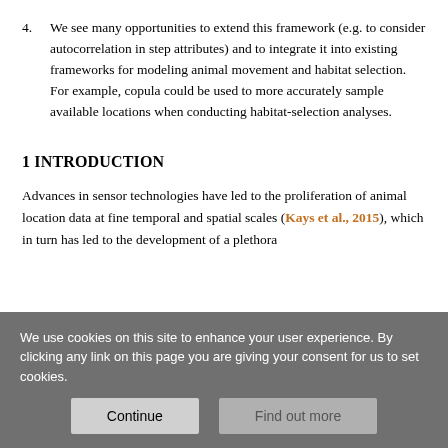4. We see many opportunities to extend this framework (e.g. to consider autocorrelation in step attributes) and to integrate it into existing frameworks for modeling animal movement and habitat selection. For example, copula could be used to more accurately sample available locations when conducting habitat-selection analyses.
1 INTRODUCTION
Advances in sensor technologies have led to the proliferation of animal location data at fine temporal and spatial scales (Kays et al., 2015), which in turn has led to the development of a plethora
We use cookies on this site to enhance your user experience. By clicking any link on this page you are giving your consent for us to set cookies.